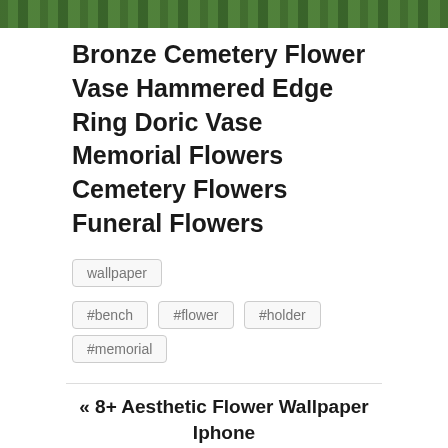[Figure (photo): Green foliage/plant background strip at top of page]
Bronze Cemetery Flower Vase Hammered Edge Ring Doric Vase Memorial Flowers Cemetery Flowers Funeral Flowers
wallpaper
#bench  #flower  #holder  #memorial
« 8+ Aesthetic Flower Wallpaper Iphone
10+ Wedding Hair Down With Flower Crown »
Share